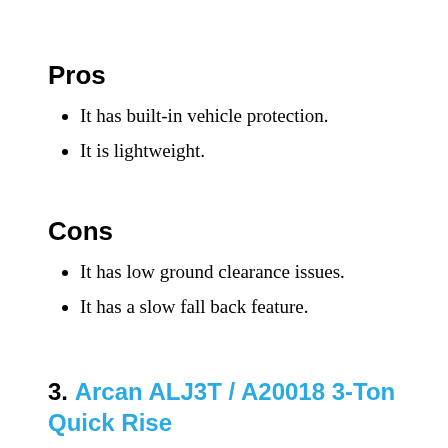Pros
It has built-in vehicle protection.
It is lightweight.
Cons
It has low ground clearance issues.
It has a slow fall back feature.
3. Arcan ALJ3T / A20018 3-Ton Quick Rise